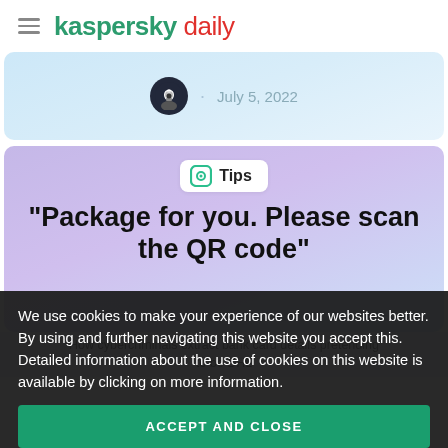kaspersky daily
[Figure (other): Article card with author avatar and date: July 5, 2022]
July 5, 2022
[Figure (other): Article card with Tips badge and article title on purple gradient background]
Tips
“Package for you. Please scan the QR code”
How cybercriminals extract bank card details pretending to be DHL
We use cookies to make your experience of our websites better. By using and further navigating this website you accept this. Detailed information about the use of cookies on this website is available by clicking on more information.
ACCEPT AND CLOSE